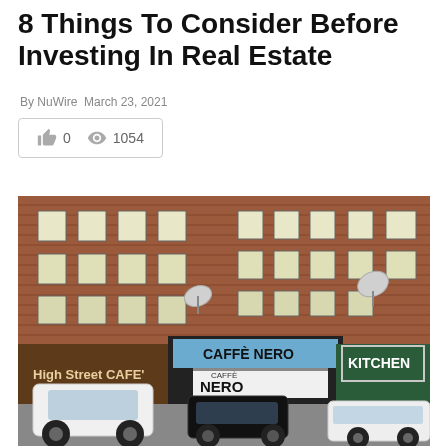8 Things To Consider Before Investing In Real Estate
By NuWire March 23, 2021
👍 0   👁 1054
[Figure (photo): Street-level photo of brick commercial buildings with shops including High Street CAFE, Caffe Nero, and Kitchen. Several cars parked in front on a urban high street.]